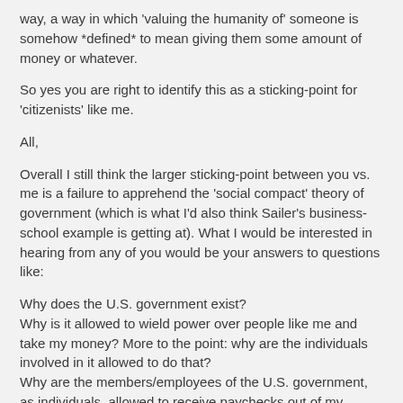way, a way in which 'valuing the humanity of' someone is somehow *defined* to mean giving them some amount of money or whatever.
So yes you are right to identify this as a sticking-point for 'citizenists' like me.
All,
Overall I still think the larger sticking-point between you vs. me is a failure to apprehend the 'social compact' theory of government (which is what I'd also think Sailer's business-school example is getting at). What I would be interested in hearing from any of you would be your answers to questions like:
Why does the U.S. government exist?
Why is it allowed to wield power over people like me and take my money? More to the point: why are the individuals involved in it allowed to do that?
Why are the members/employees of the U.S. government, as individuals, allowed to receive paychecks out of my money?
Let alone, to tell me what to do?
Normally I do not bother to ask myself these questions. But if/when I become convinced that they have taken to